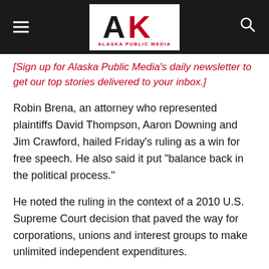Alaska Public Media
[Sign up for Alaska Public Media’s daily newsletter to get our top stories delivered to your inbox.]
Robin Brena, an attorney who represented plaintiffs David Thompson, Aaron Downing and Jim Crawford, hailed Friday’s ruling as a win for free speech. He also said it put “balance back in the political process.”
He noted the ruling in the context of a 2010 U.S. Supreme Court decision that paved the way for corporations, unions and interest groups to make unlimited independent expenditures.
Friday’s ruling is “good for political dialogue, for the candidates to be able to raise the money they need to have